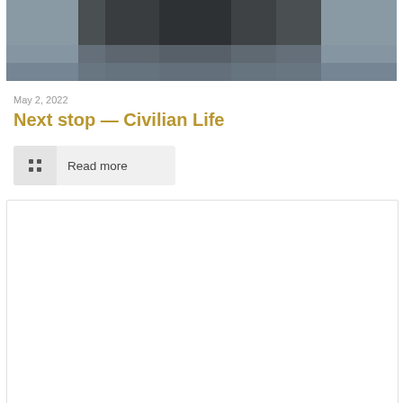[Figure (photo): A person wearing dark clothing photographed near water, cropped to show upper body]
May 2, 2022
Next stop — Civilian Life
Read more
[Figure (other): A large white/empty card or image placeholder below the read more button]